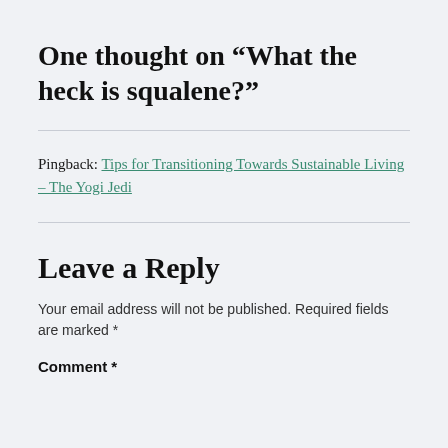One thought on “What the heck is squalene?”
Pingback: Tips for Transitioning Towards Sustainable Living – The Yogi Jedi
Leave a Reply
Your email address will not be published. Required fields are marked *
Comment *